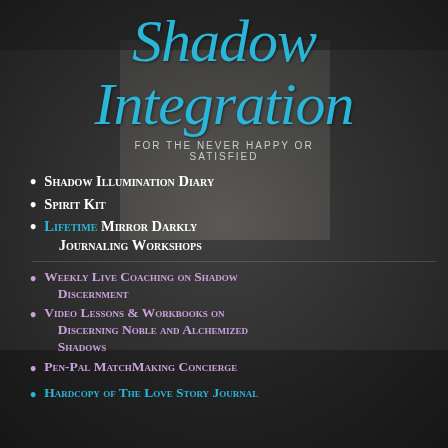Shadow Integration
FOR THE NEVER HAPPY OR SATISFIED
Shadow Illumination Diary
Spirit Kit
Lifetime Mirror Darkly Journaling Workshops
Weekly Live Coaching on Shadow Discernment
Video Lessons & Workbooks on Discerning Noble and Alchemized Shadows
Pen-Pal MatchMaking Concierge
Hardcopy of The Love Story Journal